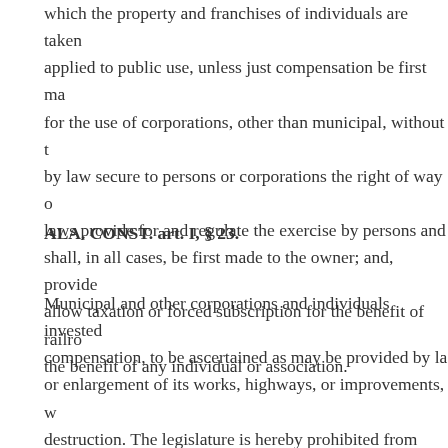which the property and franchises of individuals are taken or applied to public use, unless just compensation be first made for the use of corporations, other than municipal, without the by law secure to persons or corporations the right of way or laws provide for and regulate the exercise by persons and shall, in all cases, be first made to the owner; and, provide allow taxation or forced subscription for the benefit of railroads the benefit of any individual or association.
ALA. CONST. art. I, § 23.
Municipal and other corporations and individuals invested compensation, to be ascertained as may be provided by law or enlargement of its works, highways, or improvements, with destruction. The legislature is hereby prohibited from denying damages against any such corporations or individuals may those who have obtained the judgment of condemnation for shall have been paid into court in money, and a bond shall damages assessed, with good and sufficient sureties, to